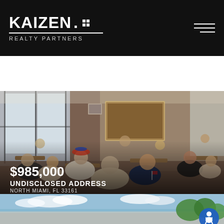[Figure (logo): Kaizen Realty Partners logo on black header bar with hamburger menu icon]
Search by City, Neighborhood, ZIP, Address,
[Figure (photo): Interior restaurant scene with many people seated at tables dining, American flag decorations visible, large artwork on wall]
$985,000
UNDISCLOSED ADDRESS
NORTH MIAMI, FL 33161
[Figure (photo): Bottom strip showing outdoor scene with sky and trees, accessibility button overlay]